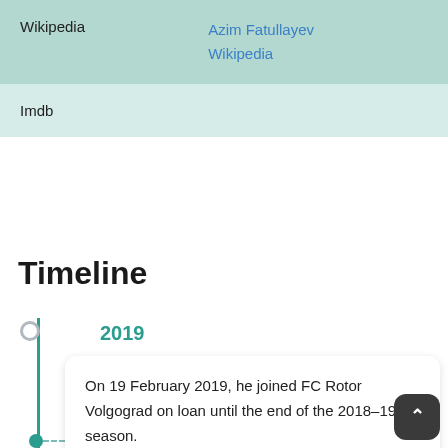|  |  |
| --- | --- |
| Wikipedia | Azim Fatullayev
Wikipedia |
| Imdb |  |
Timeline
2019
On 19 February 2019, he joined FC Rotor Volgograd on loan until the end of the 2018–19 season.
On 28 May 2019, he re-signed with Rotor